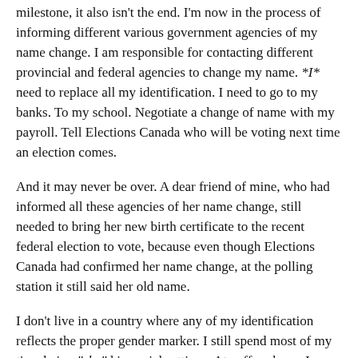milestone, it also isn't the end. I'm now in the process of informing different various government agencies of my name change. I am responsible for contacting different provincial and federal agencies to change my name. *I* need to replace all my identification. I need to go to my banks. To my school. Negotiate a change of name with my payroll. Tell Elections Canada who will be voting next time an election comes.
And it may never be over. A dear friend of mine, who had informed all these agencies of her name change, still needed to bring her new birth certificate to the recent federal election to vote, because even though Elections Canada had confirmed her name change, at the polling station it still said her old name.
I don't live in a country where any of my identification reflects the proper gender marker. I still spend most of my time being “she”d in social settings. At coffee shops. In classes. Even people that love me. Even